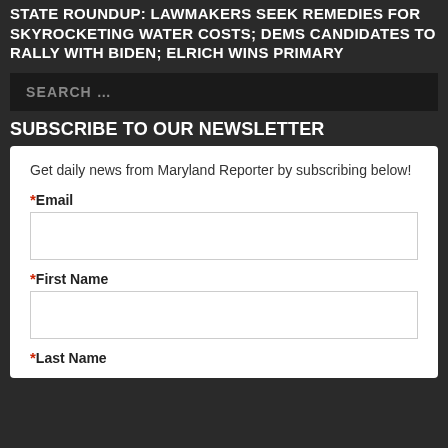STATE ROUNDUP: LAWMAKERS SEEK REMEDIES FOR SKYROCKETING WATER COSTS; DEMS CANDIDATES TO RALLY WITH BIDEN; ELRICH WINS PRIMARY
[Figure (other): Search bar with placeholder text SEARCH ...]
SUBSCRIBE TO OUR NEWSLETTER
Get daily news from Maryland Reporter by subscribing below!
* Email
* First Name
* Last Name